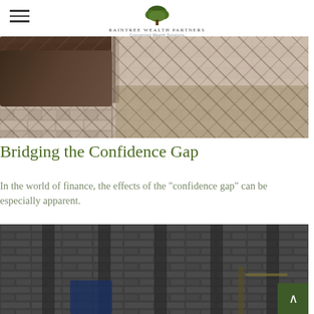Raintree Wealth Partners — Customized Wealth Solutions
[Figure (photo): Close-up photo of a hand holding a tablet device over a stone or tile surface]
Bridging the Confidence Gap
In the world of finance, the effects of the "confidence gap" can be especially apparent.
[Figure (photo): Close-up photo of a dark stone or brick building facade with architectural columns and detailing, with a blue sign visible at bottom]